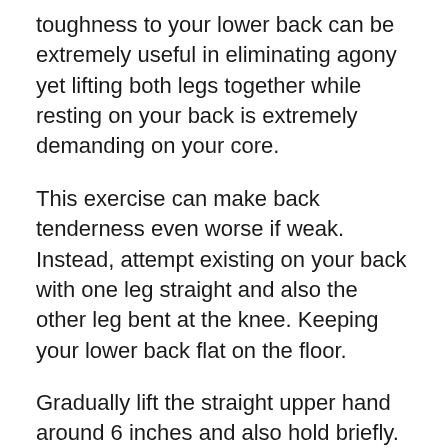toughness to your lower back can be extremely useful in eliminating agony yet lifting both legs together while resting on your back is extremely demanding on your core.
This exercise can make back tenderness even worse if weak. Instead, attempt existing on your back with one leg straight and also the other leg bent at the knee. Keeping your lower back flat on the floor.
Gradually lift the straight upper hand around 6 inches and also hold briefly. Lower leg gradually. Repeat 10 times, after that switch over legs.
11. Seated Spinal Twist